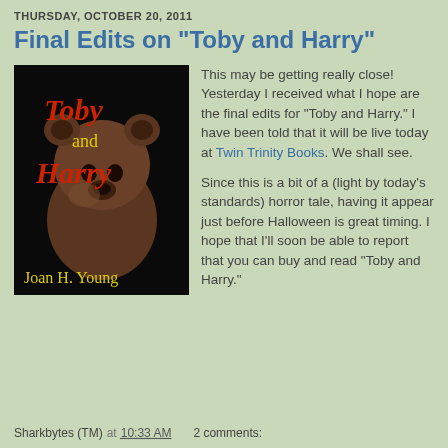THURSDAY, OCTOBER 20, 2011
Final Edits on "Toby and Harry"
[Figure (illustration): Book cover for 'Toby and Harry' by Joan H. Young. Black background with a teddy bear image. Title text 'Toby' in red, 'and' in yellow, 'Harry' in red. Author name 'Joan H. Young' in yellow at the bottom.]
This may be getting really close! Yesterday I received what I hope are the final edits for "Toby and Harry." I have been told that it will be live today at Twin Trinity Books. We shall see.
Since this is a bit of a (light by today's standards) horror tale, having it appear just before Halloween is great timing. I hope that I'll soon be able to report that you can buy and read "Toby and Harry."
Sharkbytes (TM) at 10:33 AM   2 comments: